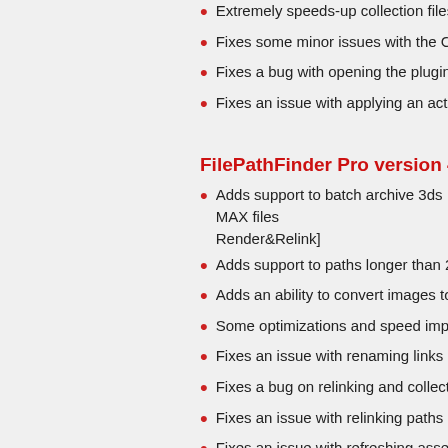Extremely speeds-up collection files on batch
Fixes some minor issues with the Converting
Fixes a bug with opening the plugin on scen
Fixes an issue with applying an activation ke
FilePathFinder Pro version 4.00.76
Adds support to batch archive 3ds MAX files Render&Relink]
Adds support to paths longer than 256 chara
Adds an ability to convert images to TX form
Some optimizations and speed improvemen
Fixes an issue with renaming links on xRef s
Fixes a bug on relinking and collecting asset
Fixes an issue with relinking paths longer tha
Fixes an issue with refreshing assets after re
Allows to setup desired view for studios with
Fixes an issue with relinking OSLMap
Fixes an issue with slow opening right-menu
Fixes a bug setting path for links contained i
FilePathFinder Pro version 4.00.00
Adds support to 3ds Max 2022